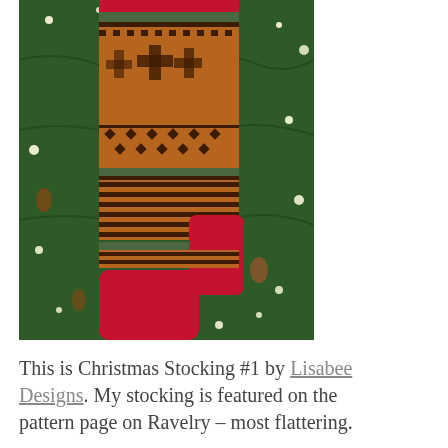[Figure (photo): A hand-knitted Christmas stocking with Fair Isle pattern in brown, orange, green, and red colors, hanging against a Christmas tree with lights. The stocking has decorative snowflake/geometric patterns on the leg, stripe patterns on the ankle, and a solid red toe and heel.]
This is Christmas Stocking #1 by Lisabee Designs. My stocking is featured on the pattern page on Ravelry – most flattering.